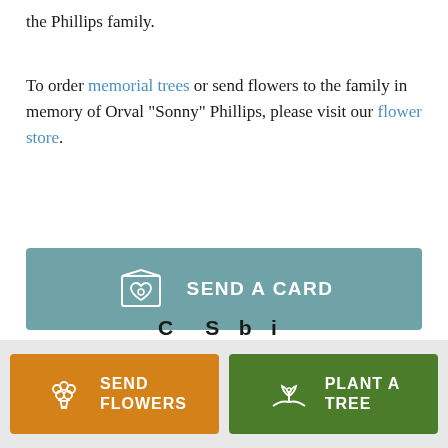the Phillips family.
To order memorial trees or send flowers to the family in memory of Orval "Sonny" Phillips, please visit our flower store.
[Figure (other): Teal button with greeting card icon and text SEND A CARD]
[Figure (other): Gray bottom bar with orange SEND FLOWERS button (flower bouquet icon) and green PLANT A TREE button (plant/hand icon)]